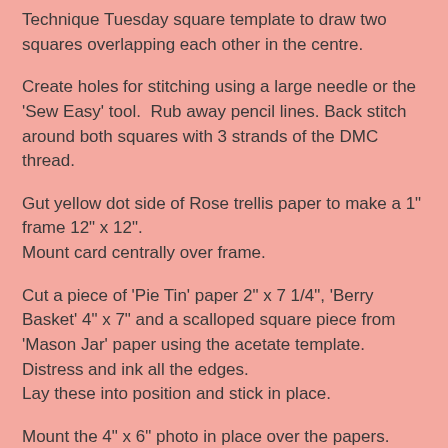Technique Tuesday square template to draw two squares overlapping each other in the centre.
Create holes for stitching using a large needle or the 'Sew Easy' tool.  Rub away pencil lines. Back stitch around both squares with 3 strands of the DMC thread.
Gut yellow dot side of Rose trellis paper to make a 1" frame 12" x 12".
Mount card centrally over frame.
Cut a piece of 'Pie Tin' paper 2" x 7 1/4", 'Berry Basket' 4" x 7" and a scalloped square piece from 'Mason Jar' paper using the acetate template. Distress and ink all the edges.
Lay these into position and stick in place.
Mount the 4" x 6" photo in place over the papers.
Turn the top right corner of the denim paper over to show the flowers side, place a few 3D foam pads underneath, and stick a little yellow wired flower over the point. Add a leaf cut from the 'Rose Trellis' paper.